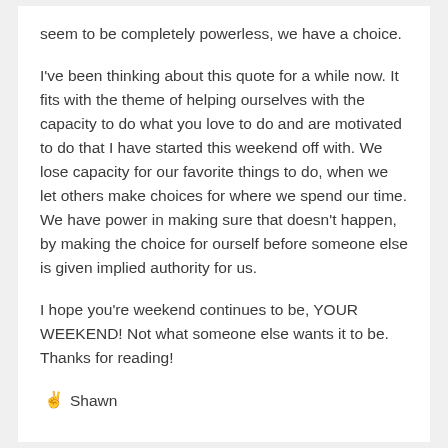seem to be completely powerless, we have a choice.
I've been thinking about this quote for a while now. It fits with the theme of helping ourselves with the capacity to do what you love to do and are motivated to do that I have started this weekend off with. We lose capacity for our favorite things to do, when we let others make choices for where we spend our time. We have power in making sure that doesn't happen, by making the choice for ourself before someone else is given implied authority for us.
I hope you're weekend continues to be, YOUR WEEKEND! Not what someone else wants it to be. Thanks for reading!
✌ Shawn